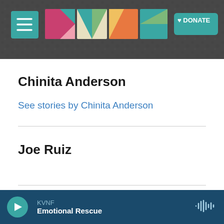[Figure (logo): KVNF radio station website header with colorful geometric logo and hamburger menu, dark stone texture background, teal Donate button]
Chinita Anderson
See stories by Chinita Anderson
Joe Ruiz
[Figure (photo): Headshot photo of Tracy Wahl, blonde hair]
Tracy Wahl
KVNF Emotional Rescue